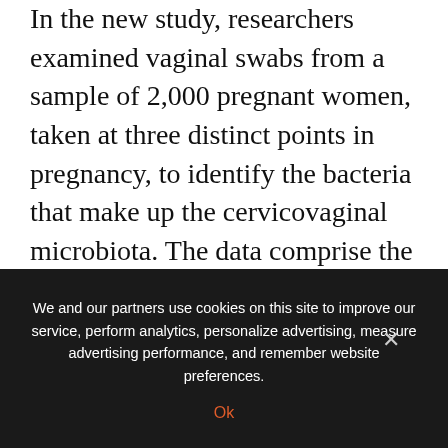In the new study, researchers examined vaginal swabs from a sample of 2,000 pregnant women, taken at three distinct points in pregnancy, to identify the bacteria that make up the cervicovaginal microbiota. The data comprise the largest sample of cervicovaginal microbiota in pregnant women to date. Using an innovative Bayesian modeling of the cervicovaginal microbiota, seven bacteria were found to significantly increase the risk of sPTB, with a stronger effect seen in African American women. Higher
We and our partners use cookies on this site to improve our service, perform analytics, personalize advertising, measure advertising performance, and remember website preferences.
Ok